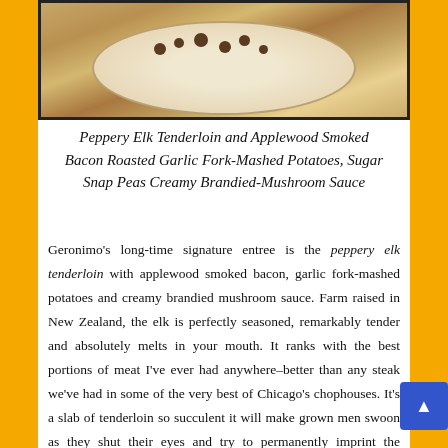[Figure (photo): Photo of a plated dish — Peppery Elk Tenderloin on a white plate with mushrooms and sauce, against an orange/golden background]
Peppery Elk Tenderloin and Applewood Smoked Bacon Roasted Garlic Fork-Mashed Potatoes, Sugar Snap Peas Creamy Brandied-Mushroom Sauce
Geronimo's long-time signature entree is the peppery elk tenderloin with applewood smoked bacon, garlic fork-mashed potatoes and creamy brandied mushroom sauce. Farm raised in New Zealand, the elk is perfectly seasoned, remarkably tender and absolutely melts in your mouth. It ranks with the best portions of meat I've ever had anywhere–better than any steak we've had in some of the very best of Chicago's chophouses. It's a slab of tenderloin so succulent it will make grown men swoon as they shut their eyes and try to permanently imprint the memories of this deliciousness in our minds. This is meat